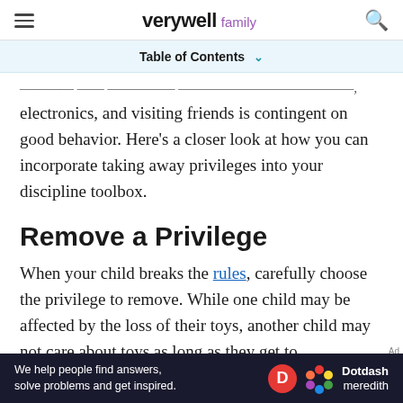verywell family
Table of Contents
...electronics, and visiting friends is contingent on good behavior. Here's a closer look at how you can incorporate taking away privileges into your discipline toolbox.
Remove a Privilege
When your child breaks the rules, carefully choose the privilege to remove. While one child may be affected by the loss of their toys, another child may not care about toys as long as they get to
[Figure (other): Dotdash Meredith advertisement banner: 'We help people find answers, solve problems and get inspired.']